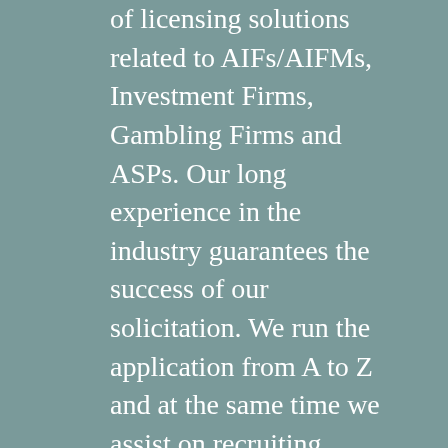of licensing solutions related to AIFs/AIFMs, Investment Firms, Gambling Firms and ASPs. Our long experience in the industry guarantees the success of our solicitation. We run the application from A to Z and at the same time we assist on recruiting employees, selecting office space and drafting all internal manuals and agreements. We stand by your side until the license is obtained and the firm is ready to commence operations. Globally, our track record includes successful applications to countries like Germany, Bulgaria, Malta, China, Cayman Islands, Vanuatu, Seychelles, Belize, BVI, St Vincent and the Grenadines etc.